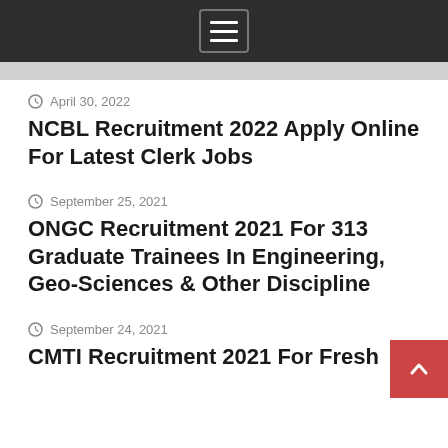[Menu icon / navigation bar]
April 30, 2022
NCBL Recruitment 2022 Apply Online For Latest Clerk Jobs
September 25, 2021
ONGC Recruitment 2021 For 313 Graduate Trainees In Engineering, Geo-Sciences & Other Discipline
September 24, 2021
CMTI Recruitment 2021 For Fresh